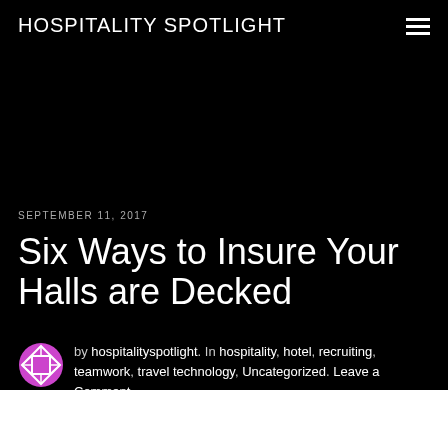HOSPITALITY SPOTLIGHT
SEPTEMBER 11, 2017
Six Ways to Insure Your Halls are Decked
by hospitalityspotlight. In hospitality, hotel, recruiting, teamwork, travel technology, Uncategorized. Leave a Comment